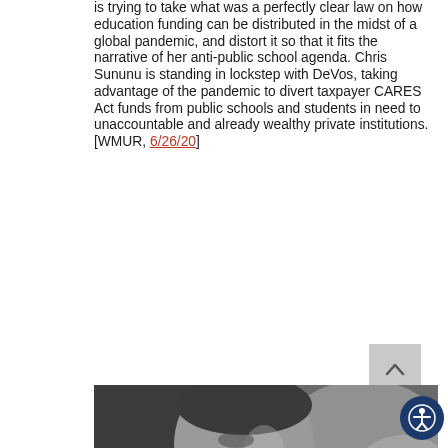is trying to take what was a perfectly clear law on how education funding can be distributed in the midst of a global pandemic, and distort it so that it fits the narrative of her anti-public school agenda. Chris Sununu is standing in lockstep with DeVos, taking advantage of the pandemic to divert taxpayer CARES Act funds from public schools and students in need to unaccountable and already wealthy private institutions. [WMUR, 6/26/20]
[Figure (photo): Black and white photograph of a man (Chris Sununu) in profile/three-quarter view, appearing to be speaking or listening, with blurred background lights.]